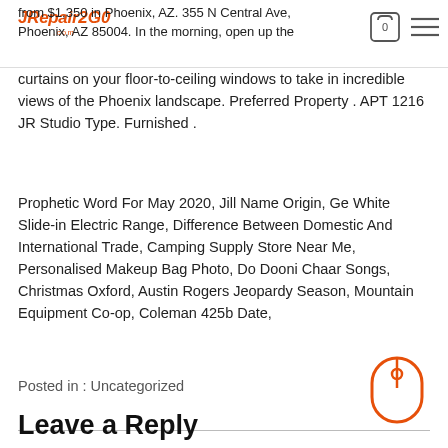Repair2Go logo with cart icon and menu icon
from $1,350 in Phoenix, AZ. 355 N Central Ave, Phoenix, AZ 85004. In the morning, open up the curtains on your floor-to-ceiling windows to take in incredible views of the Phoenix landscape. Preferred Property . APT 1216 JR Studio Type. Furnished .
Prophetic Word For May 2020, Jill Name Origin, Ge White Slide-in Electric Range, Difference Between Domestic And International Trade, Camping Supply Store Near Me, Personalised Makeup Bag Photo, Do Dooni Chaar Songs, Christmas Oxford, Austin Rogers Jeopardy Season, Mountain Equipment Co-op, Coleman 425b Date,
Posted in : Uncategorized
Leave a Reply